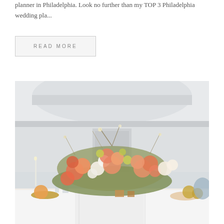planner in Philadelphia. Look no further than my TOP 3 Philadelphia wedding pla...
READ MORE
[Figure (photo): A wedding reception table set with a white tablecloth, elaborate floral centerpiece featuring peach, coral, and white flowers with greenery, candles, plates, glassware, and fruit, set inside a classical venue with ornate white architectural details.]